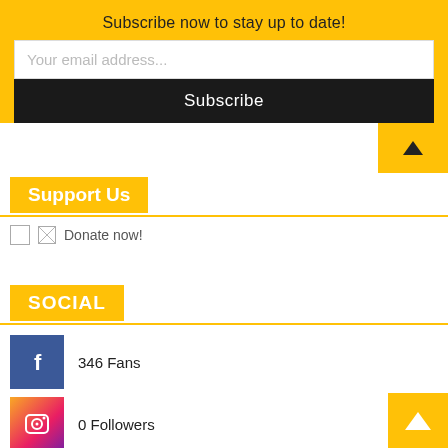Subscribe now to stay up to date!
Your email address...
Subscribe
Support Us
[Figure (other): Donate now! button/image with broken image icon]
SOCIAL
[Figure (other): Facebook icon (blue with white f)]
346 Fans
[Figure (other): Instagram icon]
0 Followers
[Figure (other): Twitter bird icon (blue)]
709 Followers